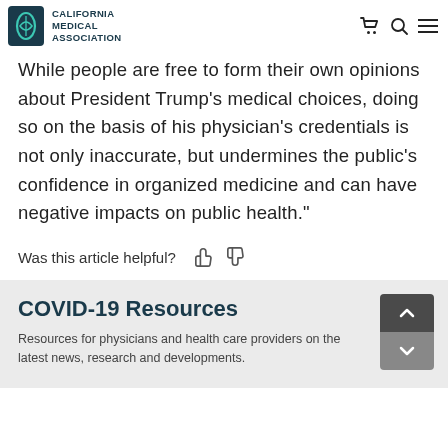California Medical Association
While people are free to form their own opinions about President Trump’s medical choices, doing so on the basis of his physician’s credentials is not only inaccurate, but undermines the public’s confidence in organized medicine and can have negative impacts on public health."
Was this article helpful?
COVID-19 Resources
Resources for physicians and health care providers on the latest news, research and developments.